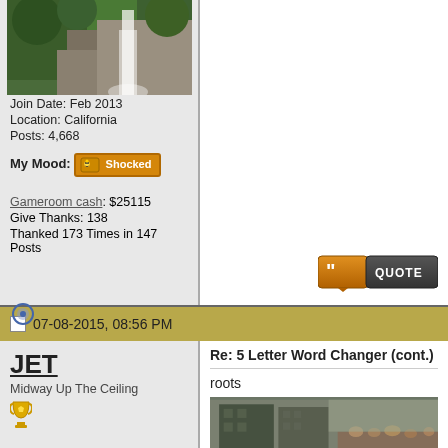[Figure (photo): Waterfall photo with green trees and rocky cliff]
Join Date: Feb 2013
Location: California
Posts: 4,668
My Mood: Shocked
Gameroom cash: $25115
Give Thanks: 138
Thanked 173 Times in 147 Posts
[Figure (screenshot): Quote button (orange/dark)]
07-08-2015, 08:56 PM
JET
Midway Up The Ceiling
Re: 5 Letter Word Changer (cont.)
roots
[Figure (photo): Blurry outdoor photo, appears to show buildings and crowd]